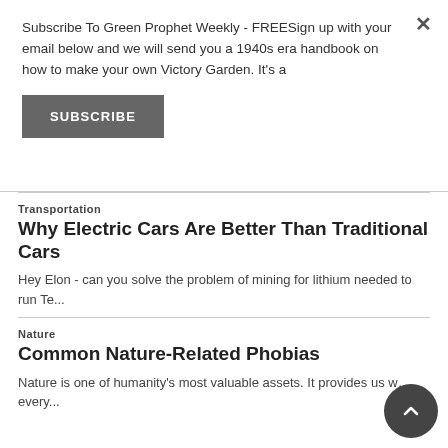Subscribe To Green Prophet Weekly - FREESign up with your email below and we will send you a 1940s era handbook on how to make your own Victory Garden. It's a
SUBSCRIBE
Transportation
Why Electric Cars Are Better Than Traditional Cars
Hey Elon - can you solve the problem of mining for lithium needed to run Te...
Nature
Common Nature-Related Phobias
Nature is one of humanity's most valuable assets. It provides us w… every...